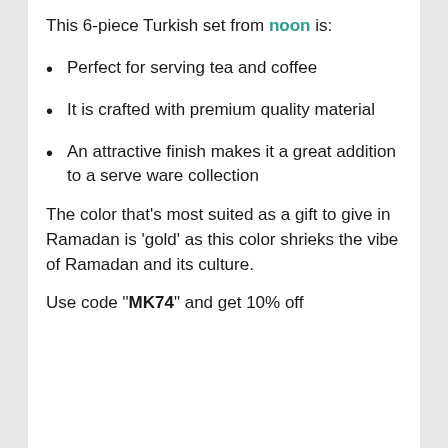This 6-piece Turkish set from noon is:
Perfect for serving tea and coffee
It is crafted with premium quality material
An attractive finish makes it a great addition to a serve ware collection
The color that’s most suited as a gift to give in Ramadan is ‘gold’ as this color shrieks the vibe of Ramadan and its culture.
Use code “MK74” and get 10% off